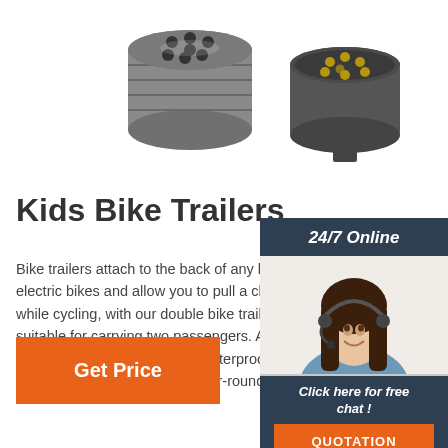[Figure (photo): Two electrical connector components — a cylindrical multi-pin connector on the left and a round 7-pin circular connector on the right, shown against white background.]
Kids Bike Trailers
Bike trailers attach to the back of any bike electric bikes and allow you to pull a child while cycling, with our double bike trailer suitable for carrying two passengers. As m our bike trailers come with a waterproof co they are suitable for use all-year-round.
[Figure (photo): Customer service representative — woman with headset smiling, with '24/7 Online' header, 'Click here for free chat!' text, and orange QUOTATION button.]
Click here for free chat !
QUOTATION
Get Price